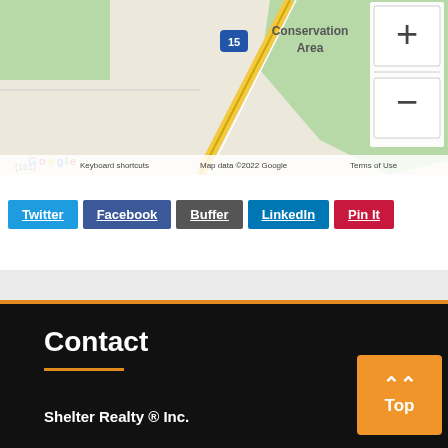[Figure (map): Google Maps screenshot showing roads, a Conservation Area (green region), interstate highway 15, and map controls (+ and - zoom buttons). Map data ©2022 Google. Labels: Conservation Area, (161), Keyboard shortcuts, Map data ©2022 Google, Terms of Use.]
Twitter
Facebook
Buffer
LinkedIn
Pin It
Contact
Shelter Realty ® Inc.